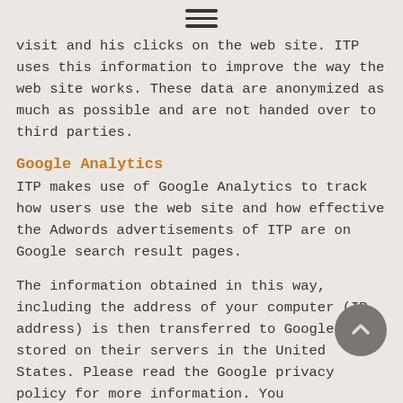☰
visit and his clicks on the web site. ITP uses this information to improve the way the web site works. These data are anonymized as much as possible and are not handed over to third parties.
Google Analytics
ITP makes use of Google Analytics to track how users use the web site and how effective the Adwords advertisements of ITP are on Google search result pages.
The information obtained in this way, including the address of your computer (IP address) is then transferred to Google and stored on their servers in the United States. Please read the Google privacy policy for more information. You